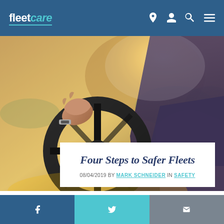fleetcare — navigation header with logo and icons
[Figure (photo): Person driving a car, view from behind showing hands on steering wheel with warm golden sunlight through windshield]
Four Steps to Safer Fleets
08/04/2019 BY MARK SCHNEIDER IN SAFETY
Social share bar with Facebook, Twitter, and email icons